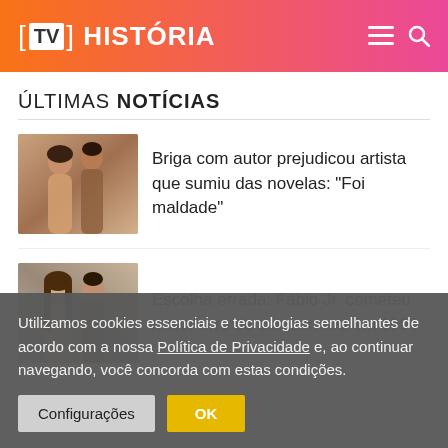[TV] HISTÓRIA
ÚLTIMAS NOTÍCIAS
[Figure (photo): Thumbnail photo of a couple, man and woman, from a Brazilian telenovela]
Briga com autor prejudicou artista que sumiu das novelas: “Foi maldade”
[Figure (photo): Thumbnail photo of a woman and a man, from a Brazilian telenovela circa 1996]
Escolha errada: Fábio Jr. cometeu maior erro de sua carreira em 1996
Utilizamos cookies essenciais e tecnologias semelhantes de acordo com a nossa Política de Privacidade e, ao continuar navegando, você concorda com estas condições.
Configurações   OK